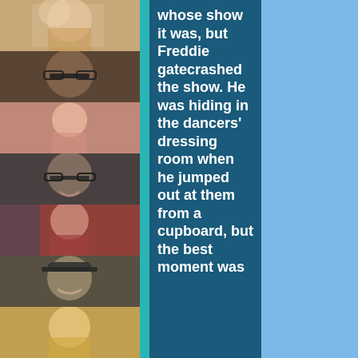[Figure (photo): Column of 7 photos of various people on the left side of the page]
whose show it was, but Freddie gatecrashed the show. He was hiding in the dancers' dressing room when he jumped out at them from a cupboard, but the best moment was